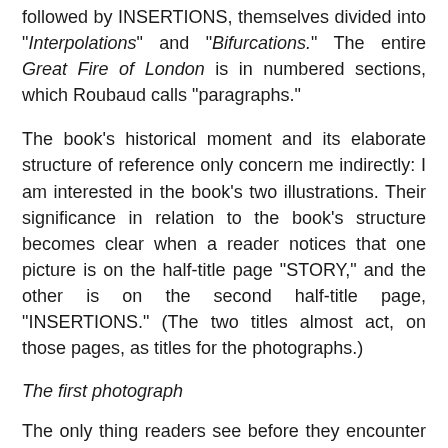followed by INSERTIONS, themselves divided into "Interpolations" and "Bifurcations." The entire Great Fire of London is in numbered sections, which Roubaud calls "paragraphs."
The book's historical moment and its elaborate structure of reference only concern me indirectly: I am interested in the book's two illustrations. Their significance in relation to the book's structure becomes clear when a reader notices that one picture is on the half-title page "STORY," and the other is on the second half-title page, "INSERTIONS." (The two titles almost act, on those pages, as titles for the photographs.)
The first photograph
The only thing readers see before they encounter this image is Roubaud's two-page "Preface," and the caption refers them to one of the book's numbered "paragraphs" (sections) that is five pages into the "STORY." It's the image's caption the first photograph they see before this one of the